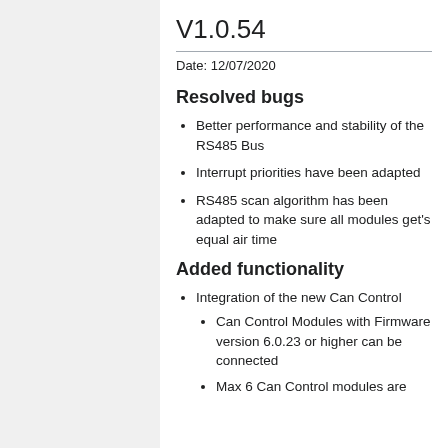V1.0.54
Date: 12/07/2020
Resolved bugs
Better performance and stability of the RS485 Bus
Interrupt priorities have been adapted
RS485 scan algorithm has been adapted to make sure all modules get's equal air time
Added functionality
Integration of the new Can Control
Can Control Modules with Firmware version 6.0.23 or higher can be connected
Max 6 Can Control modules are